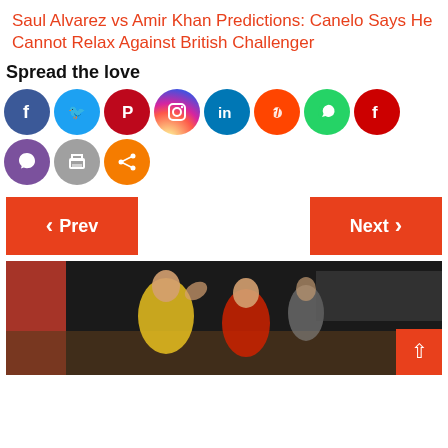Saul Alvarez vs Amir Khan Predictions: Canelo Says He Cannot Relax Against British Challenger
Spread the love
[Figure (infographic): Social media share icons: Facebook, Twitter, Pinterest, Instagram, LinkedIn, Reddit, WhatsApp, Flipboard, Viber, Print, More/Share]
[Figure (infographic): Previous and Next navigation buttons in orange]
[Figure (photo): Basketball game photo showing players in yellow/green and red uniforms competing on court]